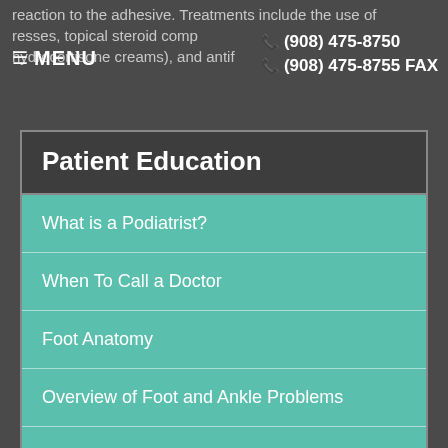reaction to the adhesive. Treatments include the use of dresses, topical steroid comp hydrocortisone creams), and antif
MENU  ☎ (908) 475-8750  ☎ (908) 475-8755 FAX
Patient Education
What is a Podiatrist?
When To Call a Doctor
Foot Anatomy
Overview of Foot and Ankle Problems
Basic Foot Care Guidelines
Foot Problems
Medical Care